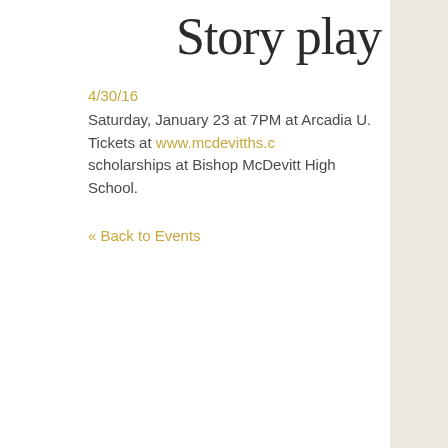Story play
4/30/16
Saturday, January 23 at 7PM at Arcadia U. Tickets at www.mcdevitths.c… scholarships at Bishop McDevitt High School.
« Back to Events